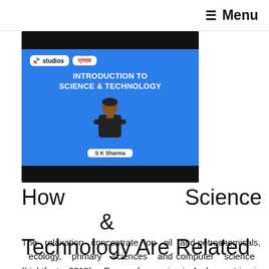☰ Menu
[Figure (screenshot): Blue card with 'studios प्रभाव' badge, title 'INTRODUCTION TO SCIENCE & TECHNOLOGY', instructor photo of S K Sharma, framed by black bars top and bottom]
How Science & Technology Are Related
The relaxation concentrate on oil and petrochemicals, ecology, primary sciences and computer science (Lightfoot 2018). Research exercise in Arab countries is thus extremely focused